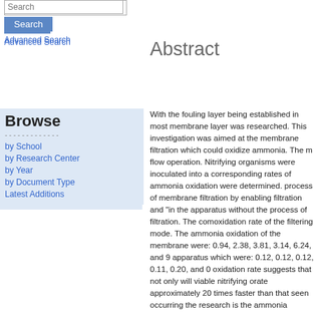Search / Advanced Search
Browse
by School
by Research Center
by Year
by Document Type
Latest Additions
Abstract
With the fouling layer being established in most membrane filtration systems, the role of this layer was researched. This investigation was aimed at the study of a biologically active membrane filtration which could oxidize ammonia. The membrane module was operated in cross-flow operation. Nitrifying organisms were inoculated into a membrane filtration apparatus and the corresponding rates of ammonia oxidation were determined. This study sought to examine the process of membrane filtration by enabling filtration and "dead-end" filtration, as well as operating in the apparatus without the process of filtration. The comparison of ammonia oxidation rates showed a higher oxidation rate of the filtering mode. The ammonia oxidation rates for the biomass accumulated on the outside of the membrane were: 0.94, 2.38, 3.81, 3.14, 6.24, and 9 while inside the apparatus which were: 0.12, 0.12, 0.12, 0.11, 0.20, and 0. The higher ammonia oxidation rate suggests that not only will viable nitrifying organisms accumulate on the membrane but at a rate approximately 20 times faster than that seen occurring inside the apparatus. Additional research is the ammonia oxidation rate as a function of parameters such as hydraulic retention time, cross-flow velocity and trans-membrane pressure suggested that there is a gradient of nitrification from the influent end of the membrane to effluent end.
Information
Main Page
Getting Started
Submitting Your ETD
Repository Policies
About
FAQ
Share
Citation/Export: Select format...